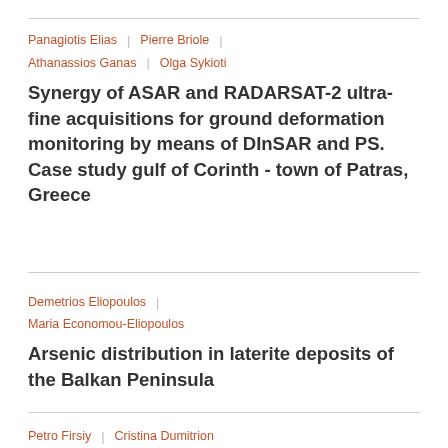Panagiotis Elias | Pierre Briole | Athanassios Ganas | Olga Sykioti
Synergy of ASAR and RADARSAT-2 ultra-fine acquisitions for ground deformation monitoring by means of DInSAR and PS. Case study gulf of Corinth - town of Patras, Greece
Demetrios Eliopoulos | Maria Economou-Eliopoulos
Arsenic distribution in laterite deposits of the Balkan Peninsula
Petro Firsiy | Cristina Dumitrion